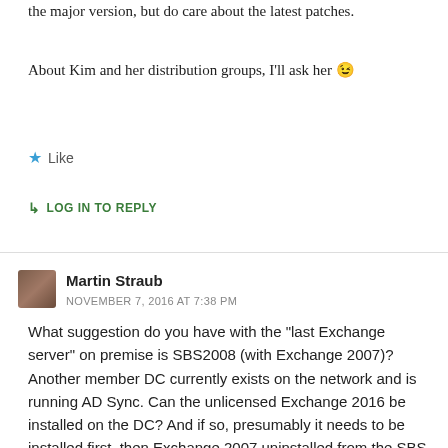the major version, but do care about the latest patches.
About Kim and her distribution groups, I'll ask her 😉
★ Like
↳ LOG IN TO REPLY
Martin Straub
NOVEMBER 7, 2016 AT 7:38 PM
What suggestion do you have with the "last Exchange server" on premise is SBS2008 (with Exchange 2007)? Another member DC currently exists on the network and is running AD Sync. Can the unlicensed Exchange 2016 be installed on the DC? And if so, presumably it needs to be installed first, then Exchange 2007 uninstalled from the SBS server?